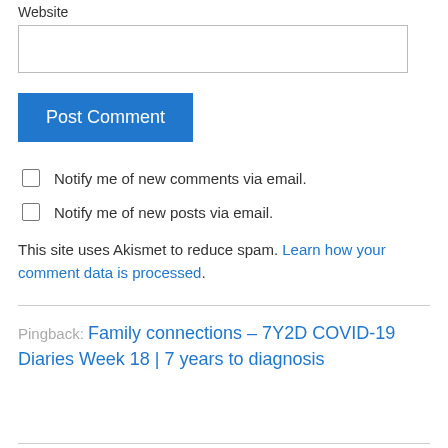Website
Post Comment
Notify me of new comments via email.
Notify me of new posts via email.
This site uses Akismet to reduce spam. Learn how your comment data is processed.
Pingback: Family connections – 7Y2D COVID-19 Diaries Week 18 | 7 years to diagnosis